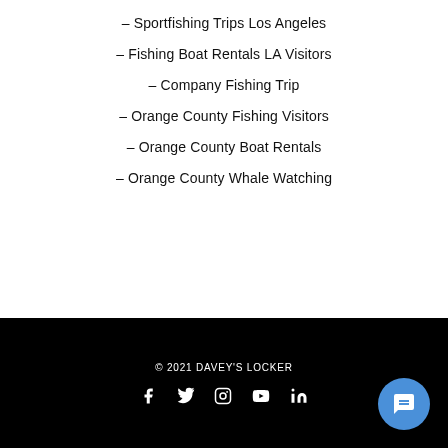– Sportfishing Trips Los Angeles
– Fishing Boat Rentals LA Visitors
– Company Fishing Trip
– Orange County Fishing Visitors
– Orange County Boat Rentals
– Orange County Whale Watching
© 2021 DAVEY'S LOCKER